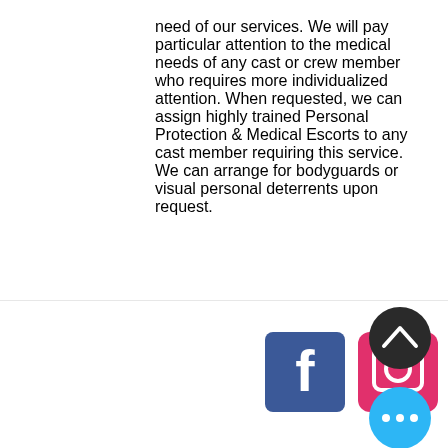need of our services. We will pay particular attention to the medical needs of any cast or crew member who requires more individualized attention. When requested, we can assign highly trained Personal Protection & Medical Escorts to any cast member requiring this service. We can arrange for bodyguards or visual personal deterrents upon request.
[Figure (illustration): Social media icons: Facebook (blue square with white F) and Instagram (pink/magenta square with camera icon). Plus a dark circular scroll-to-top button with upward chevron, and a blue circular more-options button with three dots.]